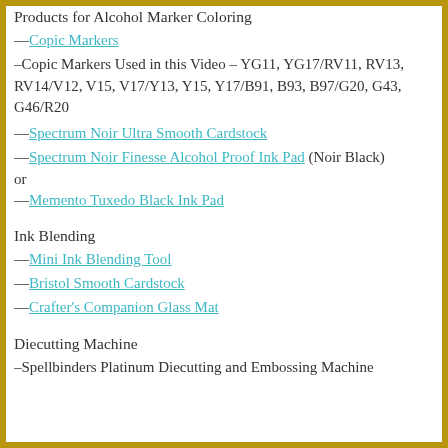Products for Alcohol Marker Coloring
—Copic Markers
–Copic Markers Used in this Video – YG11, YG17/RV11, RV13, RV14/V12, V15, V17/Y13, Y15, Y17/B91, B93, B97/G20, G43, G46/R20
—Spectrum Noir Ultra Smooth Cardstock
—Spectrum Noir Finesse Alcohol Proof Ink Pad (Noir Black) or
—Memento Tuxedo Black Ink Pad
Ink Blending
—Mini Ink Blending Tool
—Bristol Smooth Cardstock
—Crafter's Companion Glass Mat
Diecutting Machine
–Spellbinders Platinum Diecutting and Embossing Machine